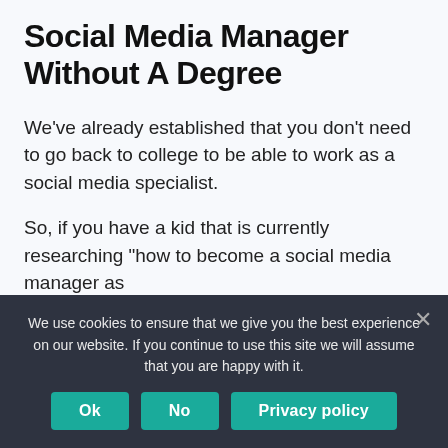Social Media Manager Without A Degree
We’ve already established that you don’t need to go back to college to be able to work as a social media specialist.
So, if you have a kid that is currently researching “how to become a social media manager as
We use cookies to ensure that we give you the best experience on our website. If you continue to use this site we will assume that you are happy with it.